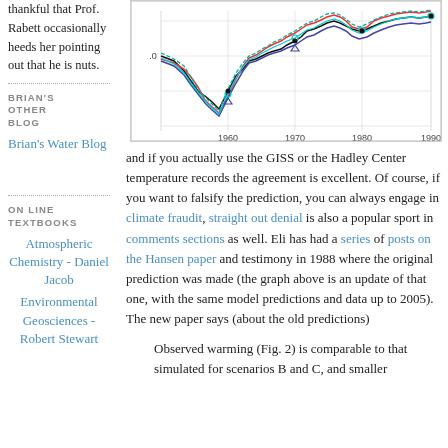thankful that Prof. Rabett occasionally heeds her pointing out that he is nuts.
[Figure (continuous-plot): Line chart showing temperature anomaly records from approximately 1960 to 1990, with multiple colored lines (red, blue, green, cyan, black) showing various temperature datasets. Y-axis shows 0 marked, x-axis shows years 1960, 1970, 1980, 1990.]
BRIAN'S OTHER BLOG
Brian's Water Blog
ON LINE TEXTBOOKS
Atmospheric Chemistry - Daniel Jacob
Environmental Geosciences - Robert Stewart
and if you actually use the GISS or the Hadley Center temperature records the agreement is excellent. Of course, if you want to falsify the prediction, you can always engage in climate fraudit, straight out denial is also a popular sport in comments sections as well. Eli has had a series of posts on the Hansen paper and testimony in 1988 where the original prediction was made (the graph above is an update of that one, with the same model predictions and data up to 2005). The new paper says (about the old predictions)
Observed warming (Fig. 2) is comparable to that simulated for scenarios B and C, and smaller